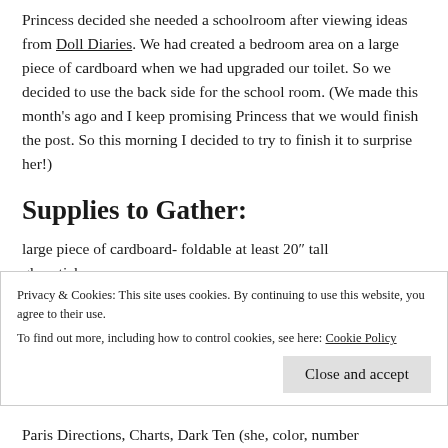Princess decided she needed a schoolroom after viewing ideas from Doll Diaries. We had created a bedroom area on a large piece of cardboard when we had upgraded our toilet. So we decided to use the back side for the school room. (We made this month's ago and I keep promising Princess that we would finish the post. So this morning I decided to try to finish it to surprise her!)
Supplies to Gather:
large piece of cardboard- foldable at least 20″ tall
glue sticks
Privacy & Cookies: This site uses cookies. By continuing to use this website, you agree to their use. To find out more, including how to control cookies, see here: Cookie Policy
Close and accept
Paris Directions, Charts, Dark Ten (she, color, number